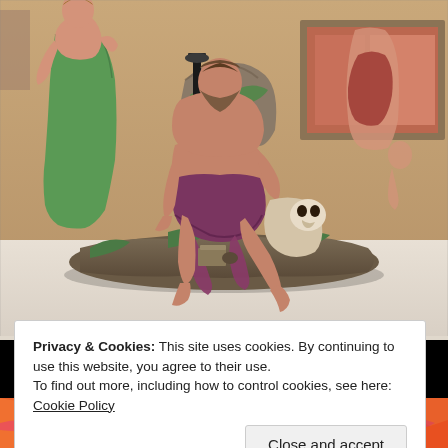[Figure (photo): A photograph of a ceramic sculpture group featuring a bearded male figure seated on rocks wearing a purple drape, accompanied by a dog with a skull-like face, and a female figure in green dress standing to the left. The sculpture is displayed in a museum setting with other artworks visible in the background.]
Privacy & Cookies: This site uses cookies. By continuing to use this website, you agree to their use.
To find out more, including how to control cookies, see here: Cookie Policy
Close and accept
[Figure (photo): Partial view of a colorful artwork or textile with bright orange, red, yellow and pink colors, visible at the bottom of the page.]